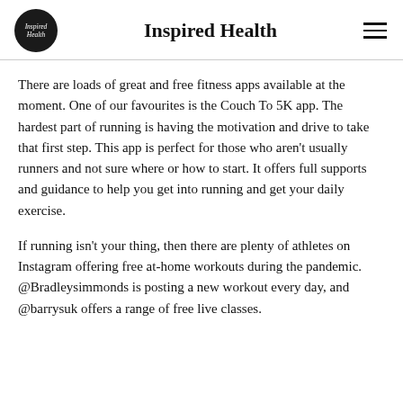Inspired Health
There are loads of great and free fitness apps available at the moment. One of our favourites is the Couch To 5K app. The hardest part of running is having the motivation and drive to take that first step. This app is perfect for those who aren't usually runners and not sure where or how to start. It offers full supports and guidance to help you get into running and get your daily exercise.
If running isn't your thing, then there are plenty of athletes on Instagram offering free at-home workouts during the pandemic. @Bradleysimmonds is posting a new workout every day, and @barrysuk offers a range of free live classes.